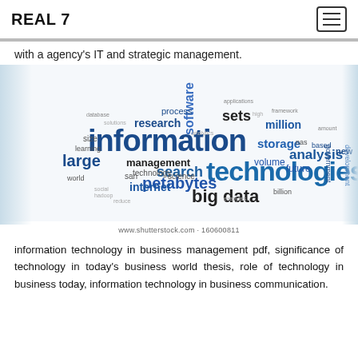REAL 7
with a agency’s IT and strategic management.
[Figure (infographic): Word cloud featuring IT and big data related terms. Prominent words include: information, technologies, big data, petabytes, search, software, sets, million, storage, analysis, large, management, research, process, internet, volume, future, development, new, san, science, based, government, nas, billion.]
www.shutterstock.com · 160600811
information technology in business management pdf, significance of technology in today's business world thesis, role of technology in business today, information technology in business communication.